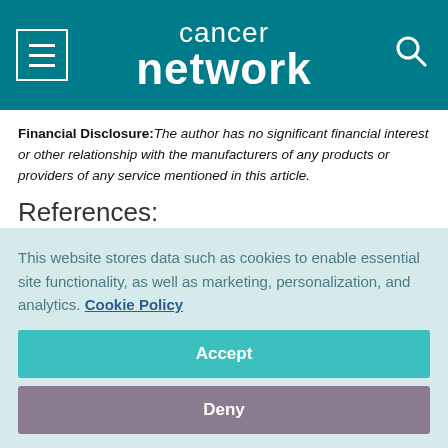cancer network
Financial Disclosure: The author has no significant financial interest or other relationship with the manufacturers of any products or providers of any service mentioned in this article.
References:
References
1. Hussain S, Brownie H, Timilshina N, et al: Falls in men on...
This website stores data such as cookies to enable essential site functionality, as well as marketing, personalization, and analytics. Cookie Policy
Accept
Deny